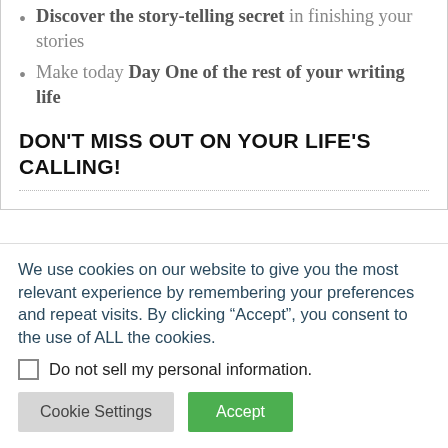Discover the story-telling secret in finishing your stories
Make today Day One of the rest of your writing life
DON'T MISS OUT ON YOUR LIFE'S CALLING!
We use cookies on our website to give you the most relevant experience by remembering your preferences and repeat visits. By clicking “Accept”, you consent to the use of ALL the cookies.
Do not sell my personal information.
Cookie Settings | Accept